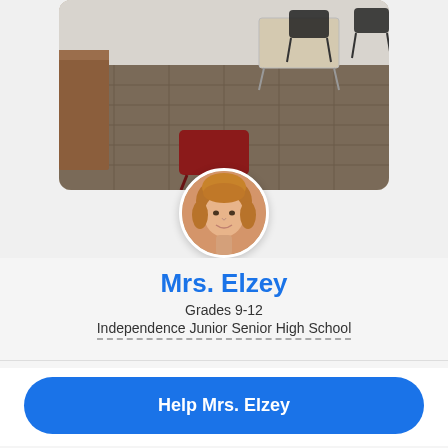[Figure (photo): Classroom background photo showing desks and chairs on carpeted floor]
[Figure (photo): Circular avatar photo of Mrs. Elzey, a woman with auburn hair, smiling]
Mrs. Elzey
Grades 9-12
Independence Junior Senior High School
HOORAY! THIS PROJECT IS FULLY FUNDED
Keep the momentum going! Make a donation to Mrs. Elzey for her next project!
Help Mrs. Elzey